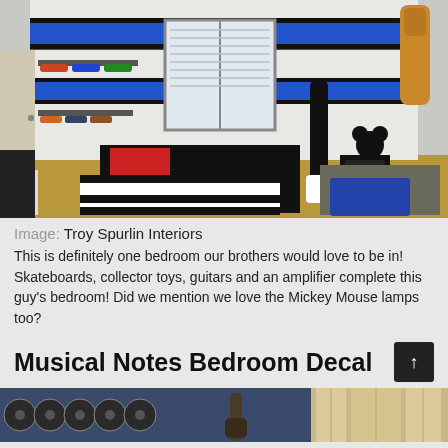[Figure (photo): Boy's bedroom with blue and white striped walls, skateboards mounted on wall, electric guitars, amplifier, Mickey Mouse lamp, and collector toys on shelves]
Image: Troy Spurlin Interiors
This is definitely one bedroom our brothers would love to be in! Skateboards, collector toys, guitars and an amplifier complete this guy's bedroom! Did we mention we love the Mickey Mouse lamps too?
Musical Notes Bedroom Decal
[Figure (photo): Two partially visible photos at the bottom: left shows vinyl records on a blue wall with a guitar, right shows curtains in a room]